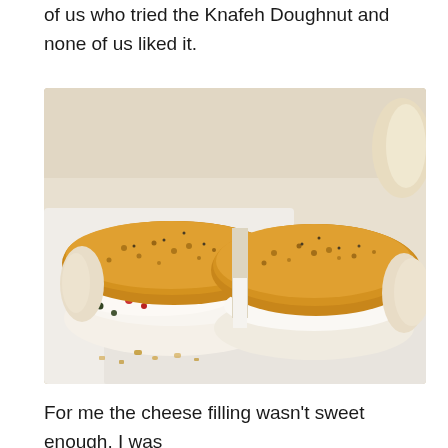of us who tried the Knafeh Doughnut and none of us liked it.
[Figure (photo): A Knafeh Doughnut cut in half, showing golden-brown semolina-crusted top, white cheese filling, and small colorful bits inside, placed on a white surface with crumbs scattered around.]
For me the cheese filling wasn't sweet enough. I was